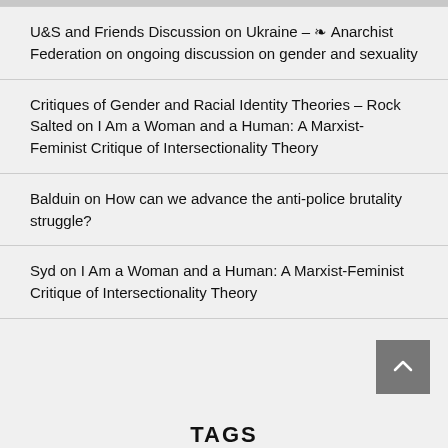U&S and Friends Discussion on Ukraine – ❧ Anarchist Federation on ongoing discussion on gender and sexuality
Critiques of Gender and Racial Identity Theories – Rock Salted on I Am a Woman and a Human: A Marxist-Feminist Critique of Intersectionality Theory
Balduin on How can we advance the anti-police brutality struggle?
Syd on I Am a Woman and a Human: A Marxist-Feminist Critique of Intersectionality Theory
TAGS